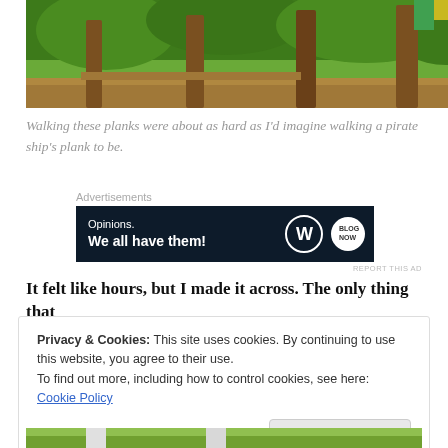[Figure (photo): Outdoor photo showing wooden poles/trunks and planks in a forest or wooded area with green trees in the background and dirt/mulch ground.]
Walking these planks were about as hard as I'd imagine walking a pirate ship's plank to be.
Advertisements
[Figure (other): Advertisement banner with dark navy background reading 'Opinions. We all have them!' with WordPress and another logo on the right.]
REPORT THIS AD
It felt like hours, but I made it across. The only thing that
Privacy & Cookies: This site uses cookies. By continuing to use this website, you agree to their use.
To find out more, including how to control cookies, see here: Cookie Policy
Close and accept
[Figure (photo): Partial photo at the bottom of the page showing outdoor greenery scene.]